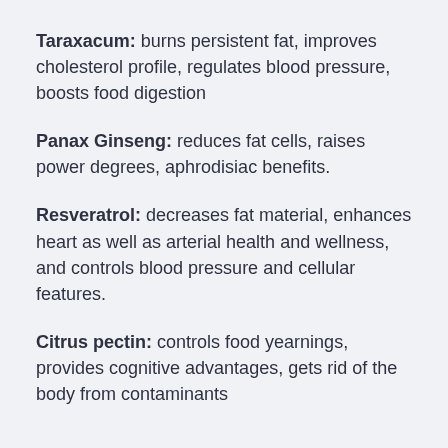Taraxacum: burns persistent fat, improves cholesterol profile, regulates blood pressure, boosts food digestion
Panax Ginseng: reduces fat cells, raises power degrees, aphrodisiac benefits.
Resveratrol: decreases fat material, enhances heart as well as arterial health and wellness, and controls blood pressure and cellular features.
Citrus pectin: controls food yearnings, provides cognitive advantages, gets rid of the body from contaminants